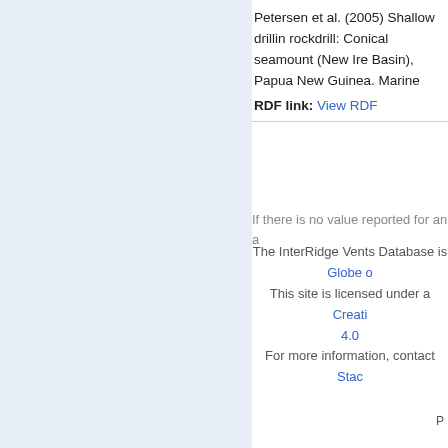Petersen et al. (2005) Shallow drilling rockdrill: Conical seamount (New Ire Basin), Papua New Guinea. Marine
RDF link: View RDF
If there is no value reported for an a
The InterRidge Vents Database is Globe o
This site is licensed under a Creati 4.0
For more information, contact Stac
P